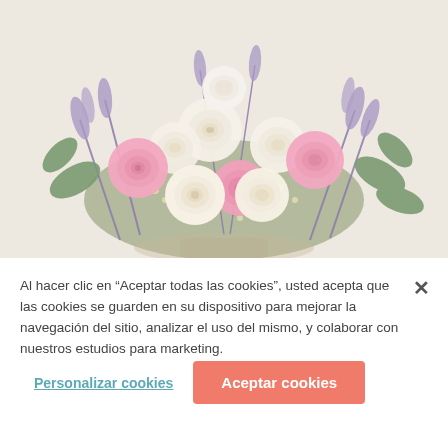[Figure (photo): A flower bouquet with pink and cream/white roses, purple lavender-like foliage, and green eucalyptus leaves on a warm beige/cream background.]
Al hacer clic en “Aceptar todas las cookies”, usted acepta que las cookies se guarden en su dispositivo para mejorar la navegación del sitio, analizar el uso del mismo, y colaborar con nuestros estudios para marketing.
Personalizar cookies
Aceptar cookies